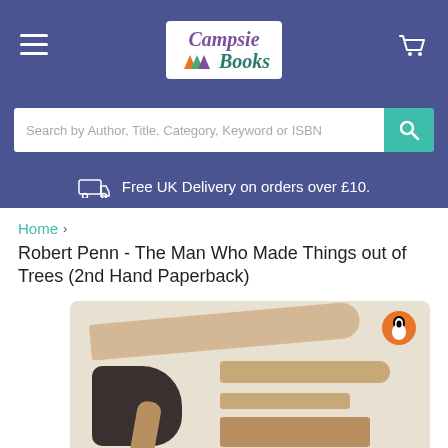[Figure (logo): Campsie Books logo with coloured leaf icons and stylised text]
[Figure (screenshot): Search bar with placeholder text 'Search by Author, Title, Category, Keyword or ISBN' and teal search button]
Free UK Delivery on orders over £10.
Home > Robert Penn - The Man Who Made Things out of Trees (2nd Hand Paperback)
[Figure (photo): Book cover of 'The Man Who Made Things out of Trees' by Robert Penn, showing wooden tools including a paddle, axe, chisels and a bowl on a pale background, with Penguin publisher logo]